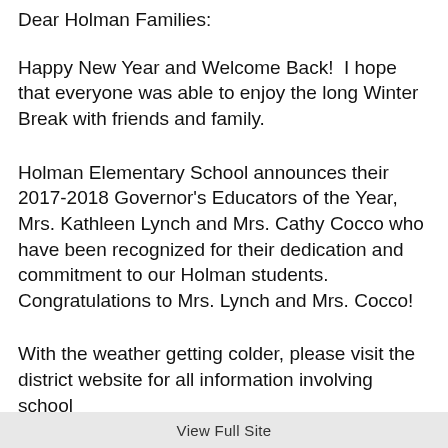Dear Holman Families:
Happy New Year and Welcome Back!  I hope that everyone was able to enjoy the long Winter Break with friends and family.
Holman Elementary School announces their 2017-2018 Governor's Educators of the Year, Mrs. Kathleen Lynch and Mrs. Cathy Cocco who have been recognized for their dedication and commitment to our Holman students.  Congratulations to Mrs. Lynch and Mrs. Cocco!
With the weather getting colder, please visit the district website for all information involving school
View Full Site